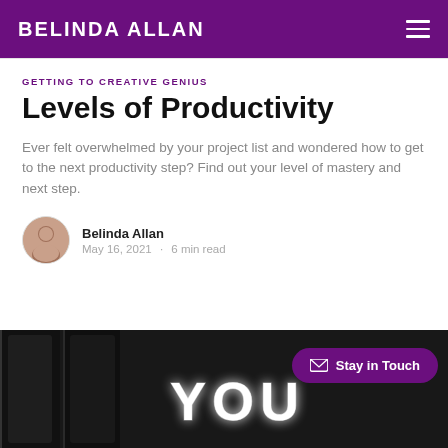BELINDA ALLAN
GETTING TO CREATIVE GENIUS
Levels of Productivity
Ever felt overwhelmed by your project list and wondered how to get to the next productivity step? Find out your level of mastery and next step.
Belinda Allan
May 16, 2021 · 6 min read
[Figure (photo): Dark background photo with neon 'YOU' text and a 'Stay in Touch' button overlay]